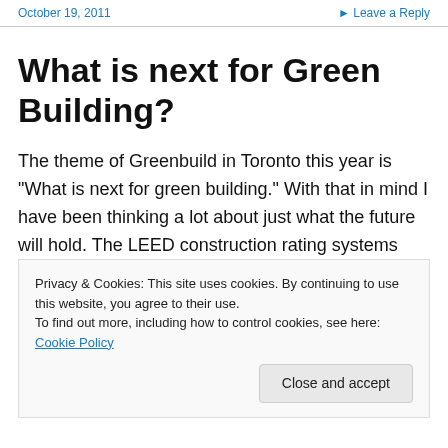October 19, 2011   ▸ Leave a Reply
What is next for Green Building?
The theme of Greenbuild in Toronto this year is "What is next for green building." With that in mind I have been thinking a lot about just what the future will hold. The LEED construction rating systems don't contain any requirements for green building operations after
Privacy & Cookies: This site uses cookies. By continuing to use this website, you agree to their use.
To find out more, including how to control cookies, see here: Cookie Policy
Close and accept